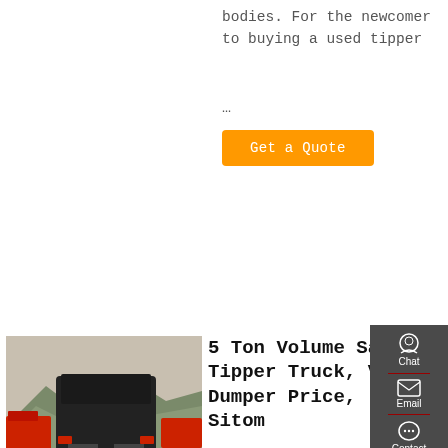bodies. For the newcomer to buying a used tipper
…
Get a Quote
[Figure (photo): Rear view of a black semi truck/tipper cab with mountains and red trucks in background]
5 Ton Volume Sand Tipper Truck, View Dumper Price, Sitom
5 ton volume sand tipper truck, US $ 16200 - 17600 / Unit, New, 115hp-160hp.Source from Shiyan Rockrich Industry
[Figure (infographic): Sidebar with Chat, Email, Contact, and Top navigation icons on dark grey background]